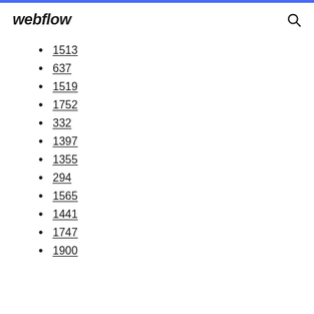webflow
1513
637
1519
1752
332
1397
1355
294
1565
1441
1747
1900